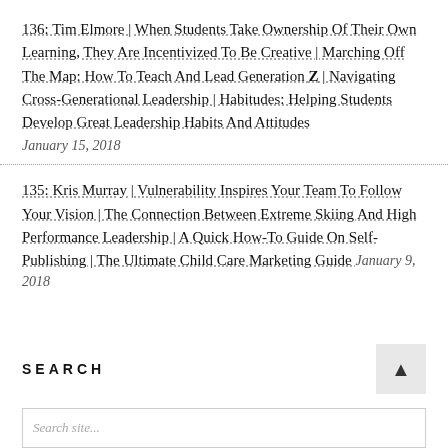136: Tim Elmore | When Students Take Ownership Of Their Own Learning, They Are Incentivized To Be Creative | Marching Off The Map: How To Teach And Lead Generation Z | Navigating Cross-Generational Leadership | Habitudes: Helping Students Develop Great Leadership Habits And Attitudes January 15, 2018
135: Kris Murray | Vulnerability Inspires Your Team To Follow Your Vision | The Connection Between Extreme Skiing And High Performance Leadership | A Quick How-To Guide On Self-Publishing | The Ultimate Child Care Marketing Guide January 9, 2018
SEARCH